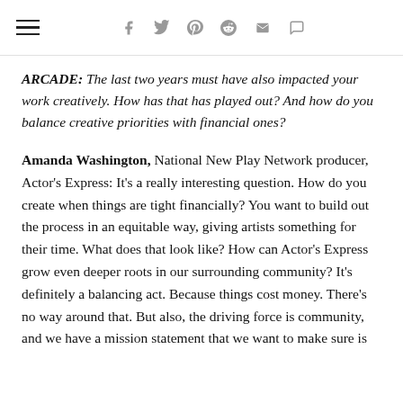navigation and social sharing icons
ARCADE: The last two years must have also impacted your work creatively. How has that has played out? And how do you balance creative priorities with financial ones?
Amanda Washington, National New Play Network producer, Actor's Express: It's a really interesting question. How do you create when things are tight financially? You want to build out the process in an equitable way, giving artists something for their time. What does that look like? How can Actor's Express grow even deeper roots in our surrounding community? It's definitely a balancing act. Because things cost money. There's no way around that. But also, the driving force is community, and we have a mission statement that we want to make sure is